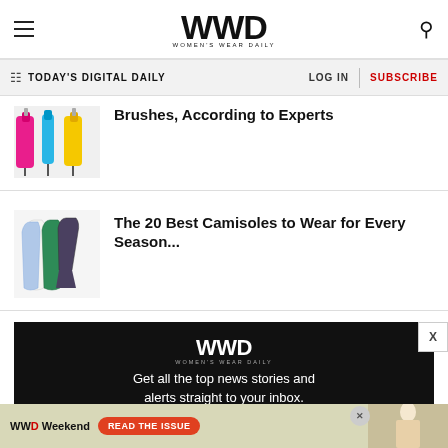WWD Women's Wear Daily
TODAY'S DIGITAL DAILY | LOG IN | SUBSCRIBE
Brushes, According to Experts
The 20 Best Camisoles to Wear for Every Season...
[Figure (infographic): Black advertisement banner with WWD logo and text: Get all the top news stories and alerts straight to your inbox.]
[Figure (infographic): WWD Weekend banner advertisement with 'READ THE ISSUE' red button and fashion photo]